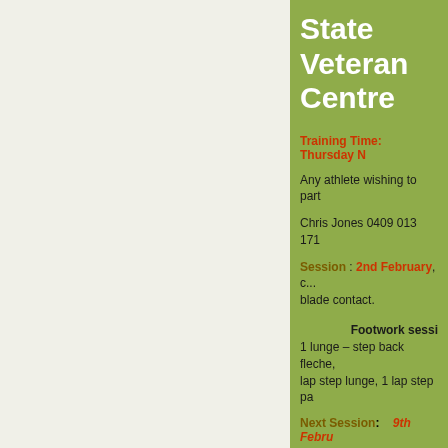State Veterans Centre
Training Time: Thursday N
Any athlete wishing to part
Chris Jones 0409 013 171
Session : 2nd February, c... blade contact.
Footwork sessi... 1 lunge – step back fleche, lap step lunge, 1 lap step pa
Next Session:    9th Febru
Fencing Victoria has the C
@ 6:30 Level 1, 204-206 A
Public transport:* by trai
by Tram Closest stop is No